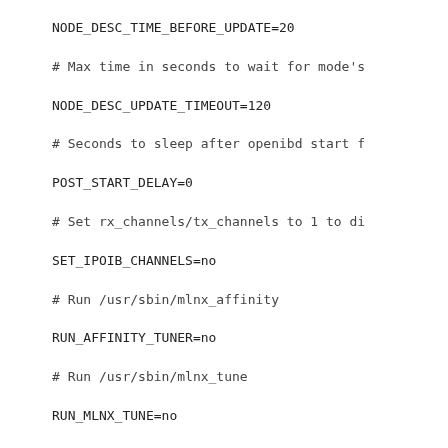NODE_DESC_TIME_BEFORE_UPDATE=20
# Max time in seconds to wait for mode's
NODE_DESC_UPDATE_TIMEOUT=120
# Seconds to sleep after openibd start f
POST_START_DELAY=0
# Set rx_channels/tx_channels to 1 to di
SET_IPOIB_CHANNELS=no
# Run /usr/sbin/mlnx_affinity
RUN_AFFINITY_TUNER=no
# Run /usr/sbin/mlnx_tune
RUN_MLNX_TUNE=no
# Load UMAD module
UMAD_LOAD=yes